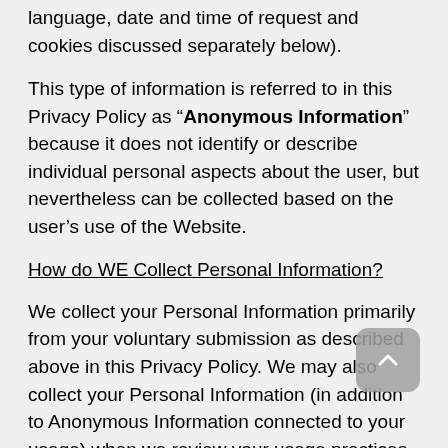language, date and time of request and cookies discussed separately below).
This type of information is referred to in this Privacy Policy as “Anonymous Information” because it does not identify or describe individual personal aspects about the user, but nevertheless can be collected based on the user’s use of the Website.
How do WE Collect Personal Information?
We collect your Personal Information primarily from your voluntary submission as described above in this Privacy Policy. We may also collect your Personal Information (in addition to Anonymous Information connected to your usage) when we review your usage practices or